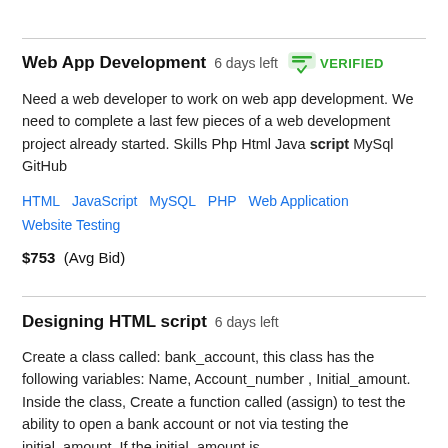Web App Development  6 days left  VERIFIED
Need a web developer to work on web app development. We need to complete a last few pieces of a web development project already started. Skills Php Html Java script MySql GitHub
HTML   JavaScript   MySQL   PHP   Web Application   Website Testing
$753  (Avg Bid)
Designing HTML script  6 days left
Create a class called: bank_account, this class has the following variables: Name, Account_number , Initial_amount. Inside the class, Create a function called (assign) to test the ability to open a bank account or not via testing the initial_amount. If the initial_amount is...